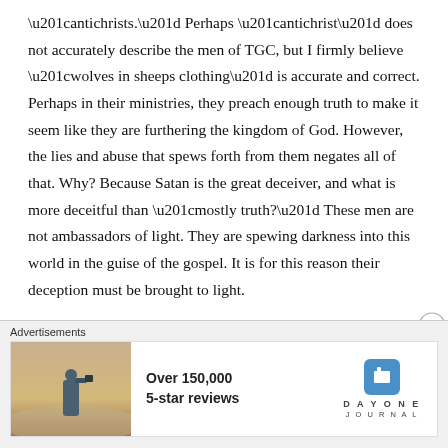“antichrists.” Perhaps “antichrist” does not accurately describe the men of TGC, but I firmly believe “wolves in sheeps clothing” is accurate and correct. Perhaps in their ministries, they preach enough truth to make it seem like they are furthering the kingdom of God. However, the lies and abuse that spews forth from them negates all of that. Why? Because Satan is the great deceiver, and what is more deceitful than “mostly truth?” These men are not ambassadors of light. They are spewing darkness into this world in the guise of the gospel. It is for this reason their deception must be brought to light.
Advertisements
[Figure (other): Advertisement banner: photo of a person with a camera against a misty landscape, text 'Over 150,000 5-star reviews', Day One Journal logo]